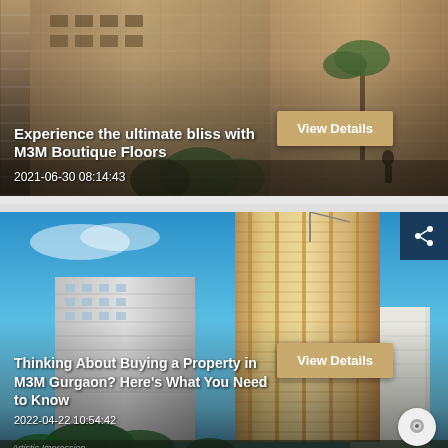[Figure (photo): Residential boutique floor building exterior, brownish tones, with overlaid text and View Details button]
Experience the ultimate bliss with M3M Boutique Floors
2021-06-30 08:14:43
[Figure (photo): Tall modern high-rise buildings against blue sky in Gurgaon, with share icon, overlaid text and View Details button, chat button at bottom right]
Thinking About Buying a Property in M3M Gurgaon? Here's What You Need to Know
2022-04-22 10:54:42
Artistic Impression